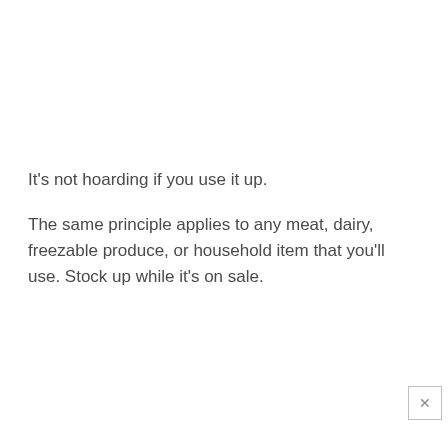It's not hoarding if you use it up.
The same principle applies to any meat, dairy, freezable produce, or household item that you'll use. Stock up while it's on sale.